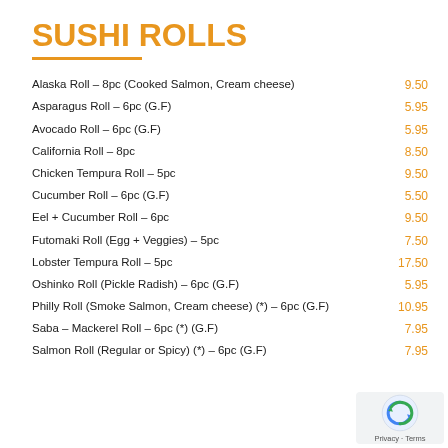SUSHI ROLLS
Alaska Roll – 8pc (Cooked Salmon, Cream cheese)
Asparagus Roll – 6pc (G.F)
Avocado Roll – 6pc (G.F)
California Roll – 8pc
Chicken Tempura Roll – 5pc
Cucumber Roll – 6pc (G.F)
Eel + Cucumber Roll – 6pc
Futomaki Roll (Egg + Veggies) – 5pc
Lobster Tempura Roll – 5pc
Oshinko Roll (Pickle Radish) – 6pc (G.F)
Philly Roll (Smoke Salmon, Cream cheese) (*) – 6pc (G.F)
Saba – Mackerel Roll – 6pc (*) (G.F)
Salmon Roll (Regular or Spicy) (*) – 6pc (G.F)